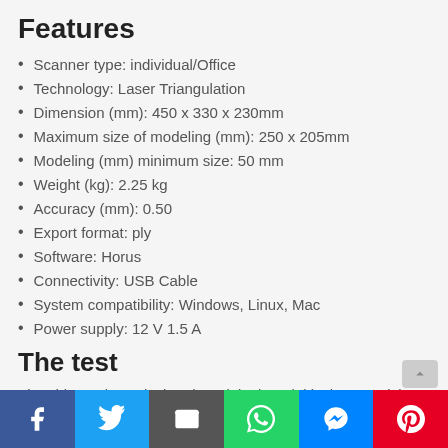Features
Scanner type: individual/Office
Technology: Laser Triangulation
Dimension (mm): 450 x 330 x 230mm
Maximum size of modeling (mm): 250 x 205mm
Modeling (mm) minimum size: 50 mm
Weight (kg): 2.25 kg
Accuracy (mm): 0.50
Export format: ply
Software: Horus
Connectivity: USB Cable
System compatibility: Windows, Linux, Mac
Power supply: 12 V 1.5 A
The test
First thing to know is that the original model is the BQ Ciclop, but because it is open source, anyone can copy it. The tested model